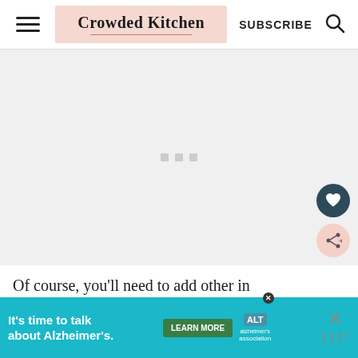Crowded Kitchen | SUBSCRIBE
[Figure (other): Gray placeholder ad area with three small gray squares in the center, indicating loading content]
[Figure (other): Dark teal circular button with white heart icon (favorite/save button)]
[Figure (other): Pink circular button with share icon (share button)]
Of course, you'll need to add other in
[Figure (other): Alzheimer's Association advertisement banner: 'It's time to talk about Alzheimer's.' with LEARN MORE button and Alzheimer's Association logo]